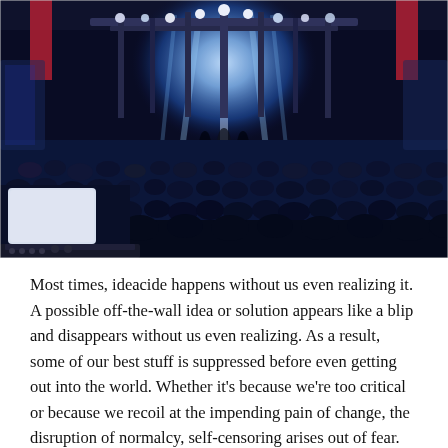[Figure (photo): Concert venue photo showing a large indoor crowd facing a brightly lit stage with truss scaffolding and stage lighting. A DJ booth or mixing console is visible in the foreground lower left. The lighting is predominantly blue and white.]
Most times, ideacide happens without us even realizing it. A possible off-the-wall idea or solution appears like a blip and disappears without us even realizing. As a result, some of our best stuff is suppressed before even getting out into the world. Whether it's because we're too critical or because we recoil at the impending pain of change, the disruption of normalcy, self-censoring arises out of fear. Welsh novelist Sarah Waters sums